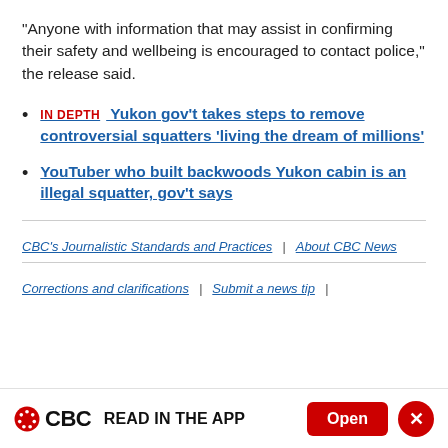"Anyone with information that may assist in confirming their safety and wellbeing is encouraged to contact police," the release said.
IN DEPTH   Yukon gov't takes steps to remove controversial squatters 'living the dream of millions'
YouTuber who built backwoods Yukon cabin is an illegal squatter, gov't says
CBC's Journalistic Standards and Practices  |  About CBC News
Corrections and clarifications  |  Submit a news tip  |
CBC  READ IN THE APP  Open